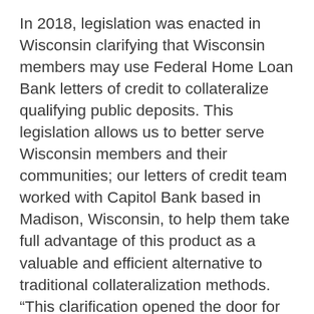In 2018, legislation was enacted in Wisconsin clarifying that Wisconsin members may use Federal Home Loan Bank letters of credit to collateralize qualifying public deposits. This legislation allows us to better serve Wisconsin members and their communities; our letters of credit team worked with Capitol Bank based in Madison, Wisconsin, to help them take full advantage of this product as a valuable and efficient alternative to traditional collateralization methods. “This clarification opened the door for more municipalities to do business with us at Capitol Bank,” said Gary Kuter, Senior Vice President, Retail Banking, Chief Compliance Officer, Capitol Bank. “Now we’re able to build relationships with more municipalities and towns in the Madison area.”